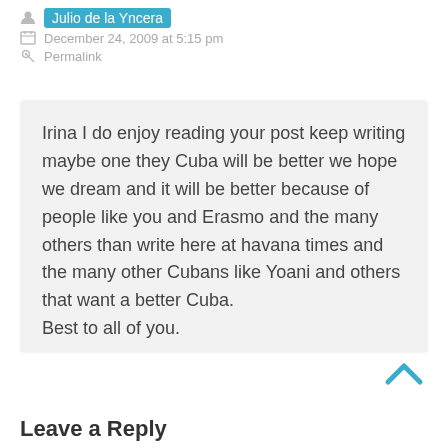Julio de la Yncera
December 24, 2009 at 5:15 pm
Permalink
Irina I do enjoy reading your post keep writing maybe one they Cuba will be better we hope we dream and it will be better because of people like you and Erasmo and the many others than write here at havana times and the many other Cubans like Yoani and others that want a better Cuba.
Best to all of you.
Leave a Reply